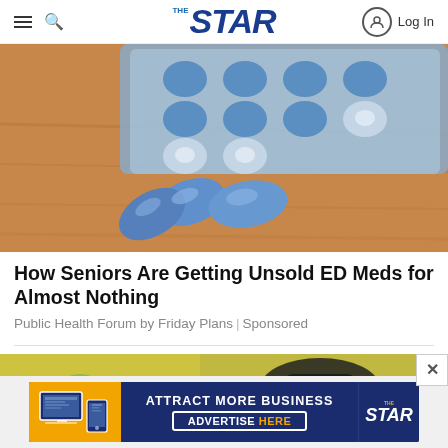THE STAR — Log In
[Figure (photo): Blue ED pills (sildenafil tablets) on a wooden surface with a blister pack in the background]
How Seniors Are Getting Unsold ED Meds for Almost Nothing
Public Health Forum by Friday Plans | Sponsored
[Figure (photo): Partial image below divider, partially obscured by close button]
[Figure (other): Advertisement banner: ATTRACT MORE BUSINESS — ADVERTISE HERE — THE STAR]